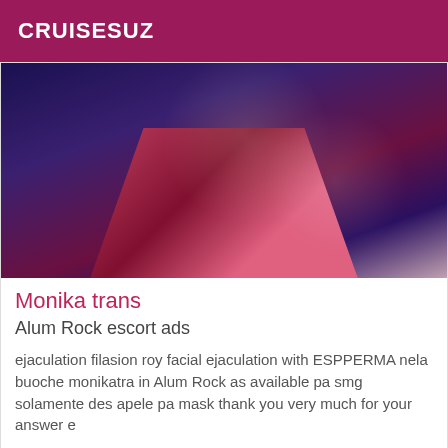CRUISESUZ
[Figure (photo): Close-up photo with dark blue, pink and red items, sparkle effects visible]
Monika trans
Alum Rock escort ads
ejaculation filasion roy facial ejaculation with ESPPERMA nela buoche monikatra in Alum Rock as available pa smg solamente des apele pa mask thank you very much for your answer e
[Figure (photo): Photo with Verified badge in top left corner, shows person in dark lace garment]